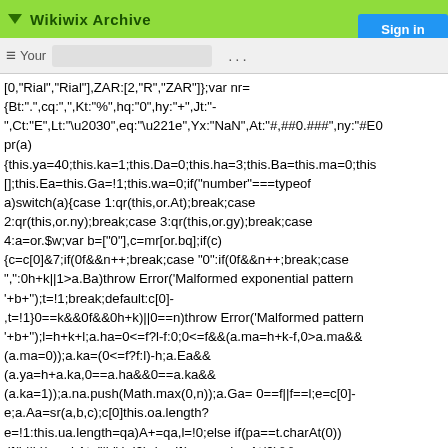Wikiwix Archive
[0,"Rial","Rial"],ZAR:[2,"R","ZAR"]};var nr=
{Bt:".",cq:",",Kt:"%",hq:"0",hy:"+",Jt:"-
",Ct:"E",Lt:"\u2030",eq:"\u221e",Yx:"NaN",At:"#,##0.###",ny:"#E0
pr(a)
{this.ya=40;this.ka=1;this.Da=0;this.ha=3;this.Ba=this.ma=0;this
[];this.Ea=this.Ga=!1;this.wa=0;if("number"===typeof
a)switch(a){case 1:qr(this,or.At);break;case
2:qr(this,or.ny);break;case 3:qr(this,or.gy);break;case
4:a=or.$w;var b=["0"],c=mr[or.bq];if(c)
{c=c[0]&7;if(0f&&n++;break;case "0":if(0f&&n++;break;case
",":0h+k||1>a.Ba)throw Error('Malformed exponential pattern
'+b+'');t=!1;break;default:c[0]-
,t=!1}0==k&&0f&&0h+k)||0==n)throw Error('Malformed pattern
'+b+'');l=h+k+l;a.ha=0<=f?l-f:0;0<=f&&(a.ma=h+k-f,0>a.ma&&
(a.ma=0));a.ka=(0<=f?f:l)-h;a.Ea&&
(a.ya=h+a.ka,0==a.ha&&0==a.ka&&
(a.ka=1));a.na.push(Math.max(0,n));a.Ga= 0==f||f==l;e=c[0]-
e;a.Aa=sr(a,b,c);c[0]this.oa.length?
e=!1:this.ua.length=qa)A+=qa,l=!0;else if(pa==t.charAt(0))
;if(h||h)breakAt="|h",l=!0)else if(pa==r.charAt(0)&&